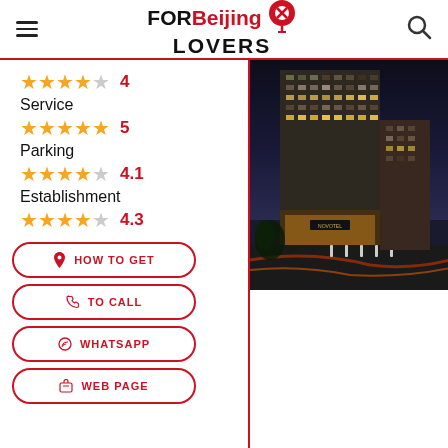FOR Beijing LOVERS
4 stars
Service
5 stars
Parking
4.1 stars
Establishment
4.3 stars
[Figure (photo): Exterior night photo of a tall hotel building in Beijing, illuminated with warm lights, street view with traffic light trails]
HOW TO GET
TO CALL
WHATSAPP
WEB PAGE